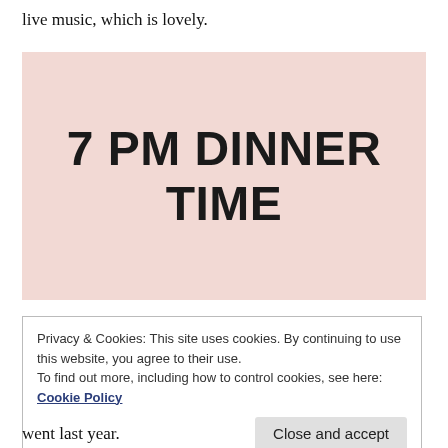live music, which is lovely.
[Figure (other): Pink/rose-colored box with large bold text reading '7 PM DINNER TIME']
Privacy & Cookies: This site uses cookies. By continuing to use this website, you agree to their use.
To find out more, including how to control cookies, see here: Cookie Policy
[Close and accept button]
went last year.